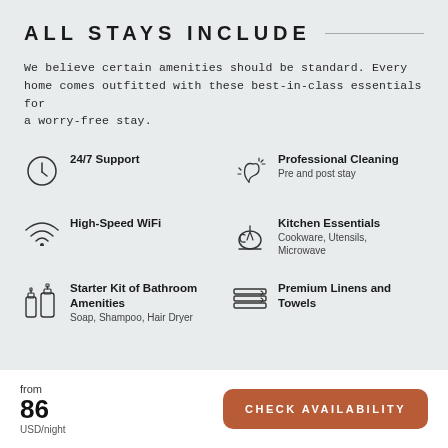ALL STAYS INCLUDE
We believe certain amenities should be standard. Every home comes outfitted with these best-in-class essentials for a worry-free stay.
24/7 Support
Professional Cleaning
Pre and post stay
High-Speed WiFi
Kitchen Essentials
Cookware, Utensils, Microwave
Starter Kit of Bathroom Amenities
Soap, Shampoo, Hair Dryer
Premium Linens and Towels
from
86
USD/night
CHECK AVAILABILITY